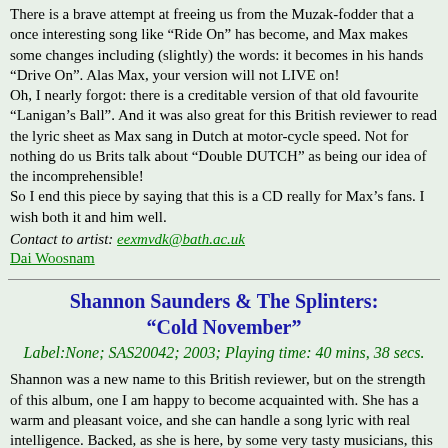There is a brave attempt at freeing us from the Muzak-fodder that a once interesting song like “Ride On” has become, and Max makes some changes including (slightly) the words: it becomes in his hands “Drive On”. Alas Max, your version will not LIVE on! Oh, I nearly forgot: there is a creditable version of that old favourite “Lanigan’s Ball”. And it was also great for this British reviewer to read the lyric sheet as Max sang in Dutch at motor-cycle speed. Not for nothing do us Brits talk about “Double DUTCH” as being our idea of the incomprehensible! So I end this piece by saying that this is a CD really for Max’s fans. I wish both it and him well.
Contact to artist: eexmvdk@bath.ac.uk
Dai Woosnam
Shannon Saunders & The Splinters: "Cold November"
Label:None; SAS20042; 2003; Playing time: 40 mins, 38 secs.
Shannon was a new name to this British reviewer, but on the strength of this album, one I am happy to become acquainted with. She has a warm and pleasant voice, and she can handle a song lyric with real intelligence. Backed, as she is here, by some very tasty musicians, this bluegrass album manages to deliver the goods.